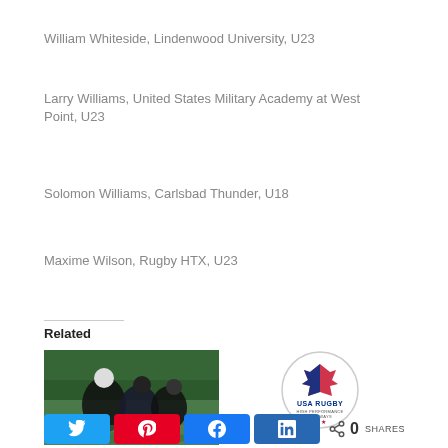William Whiteside, Lindenwood University, U23
Larry Williams, United States Military Academy at West Point, U23
Solomon Williams, Carlsbad Thunder, U18
Maxime Wilson, Rugby HTX, U23
Related
[Figure (photo): Rugby players in action on field, dark uniforms]
[Figure (logo): USA Rugby High Performance Pathways circular logo]